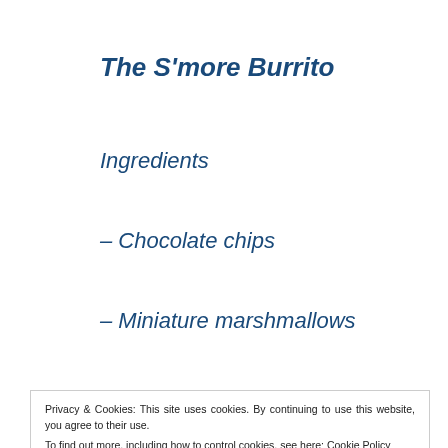The S'more Burrito
Ingredients
– Chocolate chips
– Miniature marshmallows
Privacy & Cookies: This site uses cookies. By continuing to use this website, you agree to their use.
To find out more, including how to control cookies, see here: Cookie Policy
Close and accept
Advertisements